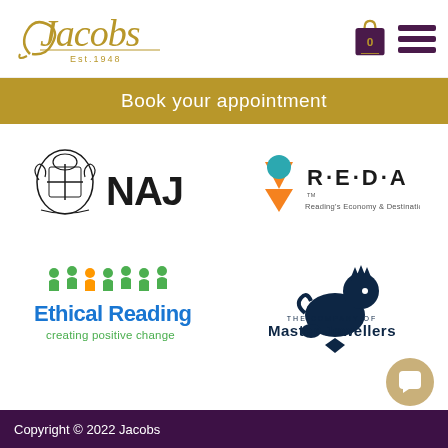Jacobs Est. 1948
Book your appointment
[Figure (logo): NAJ (National Association of Jewellers) logo with heraldic crest]
[Figure (logo): R·E·D·A Reading's Economy & Destination Agency logo with orange and teal chevron]
[Figure (logo): Ethical Reading - creating positive change logo with colourful people icons]
[Figure (logo): The Company of Master Jewellers logo with lion and diamond]
Copyright © 2022 Jacobs